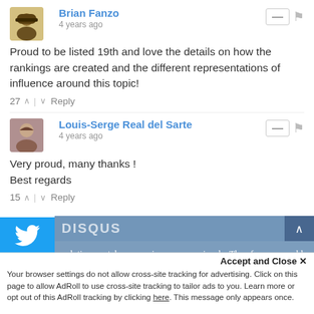Brian Fanzo
4 years ago
Proud to be listed 19th and love the details on how the rankings are created and the different representations of influence around this topic!
27 ∧ | ∨ Reply
Louis-Serge Real del Sarte
4 years ago
Very proud, many thanks !
Best regards
15 ∧ | ∨ Reply
nalytica, we take your privacy very seriously. Therefore we would like inform you what data we collect, as well as when and how we deal with personal information. To learn more, read our Privacy and Cookie Policy. If you have any questions, don't hesitate to contact us
Accept and Close ✕
Your browser settings do not allow cross-site tracking for advertising. Click on this page to allow AdRoll to use cross-site tracking to tailor ads to you. Learn more or opt out of this AdRoll tracking by clicking here. This message only appears once.